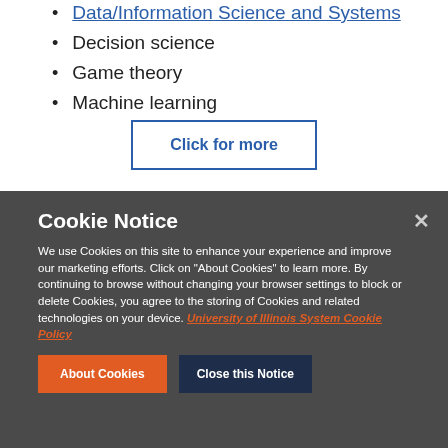Data/Information Science and Systems
Decision science
Game theory
Machine learning
Click for more
Cookie Notice
We use Cookies on this site to enhance your experience and improve our marketing efforts. Click on “About Cookies” to learn more. By continuing to browse without changing your browser settings to block or delete Cookies, you agree to the storing of Cookies and related technologies on your device. University of Illinois System Cookie Policy
About Cookies
Close this Notice